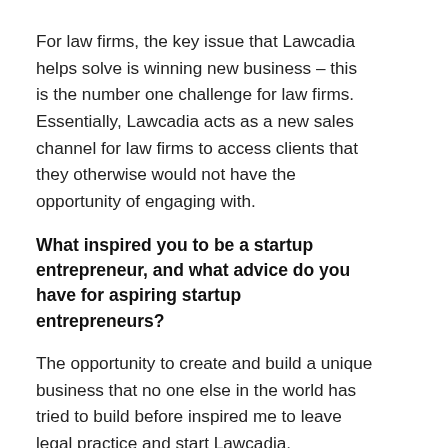For law firms, the key issue that Lawcadia helps solve is winning new business – this is the number one challenge for law firms. Essentially, Lawcadia acts as a new sales channel for law firms to access clients that they otherwise would not have the opportunity of engaging with.
What inspired you to be a startup entrepreneur, and what advice do you have for aspiring startup entrepreneurs?
The opportunity to create and build a unique business that no one else in the world has tried to build before inspired me to leave legal practice and start Lawcadia.
My advice for aspiring start-up entrepreneurs is to question the way that particular industries work, and then ask whether there is a better way to do things. Then, look to create new businesses from these ideas, rather than looking to copy what other companies are doing.